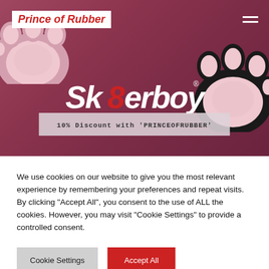[Figure (screenshot): Hero banner image showing a 3D animated furry character with cat ears and paw gloves on a pink/red background. The Sk8erboy brand logo is overlaid on the image along with a discount code banner.]
Prince of Rubber
10% Discount with 'PRINCEOFRUBBER'
We use cookies on our website to give you the most relevant experience by remembering your preferences and repeat visits. By clicking “Accept All”, you consent to the use of ALL the cookies. However, you may visit "Cookie Settings" to provide a controlled consent.
Cookie Settings
Accept All